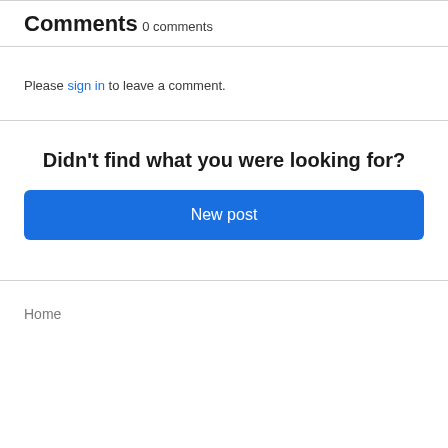Comments
0 comments
Please sign in to leave a comment.
Didn't find what you were looking for?
New post
Home